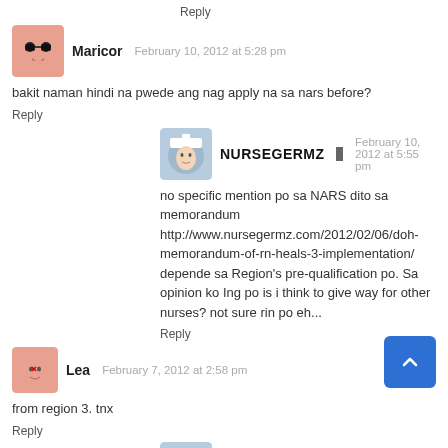Reply
Maricor   February 10, 2012 at 5:28 pm
bakit naman hindi na pwede ang nag apply na sa nars before?
Reply
NURSEGERMZ   February 10, 2012 at 5:55 pm
no specific mention po sa NARS dito sa memorandum http://www.nursegermz.com/2012/02/06/doh-memorandum-of-rn-heals-3-implementation/ depende sa Region's pre-qualification po. Sa opinion ko Ing po is i think to give way for other nurses? not sure rin po eh...
Reply
Lea   February 7, 2012 at 2:58 pm
from region 3. tnx
Reply
NURSEGERMZ   February 7, 2012 at 3:44 pm
try checking here po http://www.nursegermz.com/category/all-regions/ mga